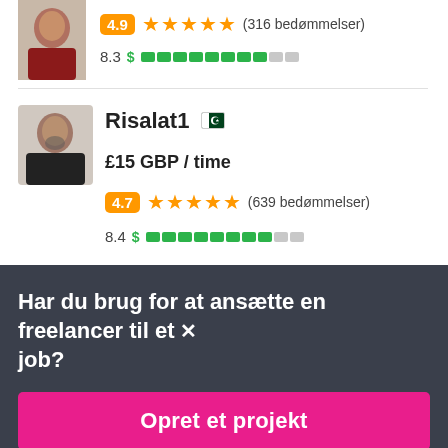[Figure (photo): Profile avatar photo of first user, cropped at top]
4.9 ★★★★★ (316 bedømmelser)
8.3 $ ████████░░
[Figure (photo): Profile avatar photo of Risalat1]
Risalat1 🇵🇰
£15 GBP / time
4.7 ★★★★★ (639 bedømmelser)
8.4 $ ████████░░
Har du brug for at ansætte en freelancer til et job?
Opret et projekt